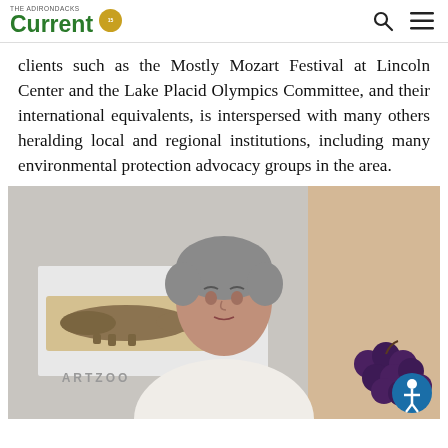Current [logo with badge] [search icon] [menu icon]
clients such as the Mostly Mozart Festival at Lincoln Center and the Lake Placid Olympics Committee, and their international equivalents, is interspersed with many others heralding local and regional institutions, including many environmental protection advocacy groups in the area.
[Figure (photo): An elderly man with grey hair in a white shirt, standing in front of an ARTZOO sign with a crocodile illustration. To the right is a cluster of dark grapes. An accessibility button is visible in the lower right corner.]